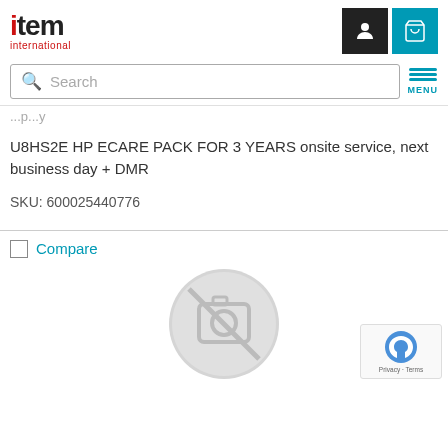[Figure (logo): item international logo with red accent]
[Figure (screenshot): Search bar with magnifying glass icon and hamburger menu with MENU label]
...p...y
U8HS2E HP ECARE PACK FOR 3 YEARS onsite service, next business day + DMR
SKU: 600025440776
Compare
[Figure (illustration): No image available placeholder circle icon in gray]
[Figure (screenshot): reCAPTCHA badge with Privacy and Terms text]